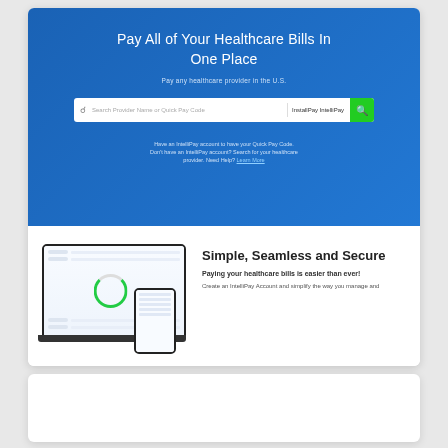Pay All of Your Healthcare Bills In One Place
Pay any healthcare provider in the U.S.
Have an IntelliPay account to have your Quick Pay Code. Don't have an IntelliPay account? Search for your healthcare provider. Need Help? Learn More
[Figure (screenshot): Screenshot of IntelliPay dashboard on a laptop and mobile device showing a circular progress chart and payment rows]
Simple, Seamless and Secure
Paying your healthcare bills is easier than ever!
Create an IntelliPay Account and simplify the way you manage and